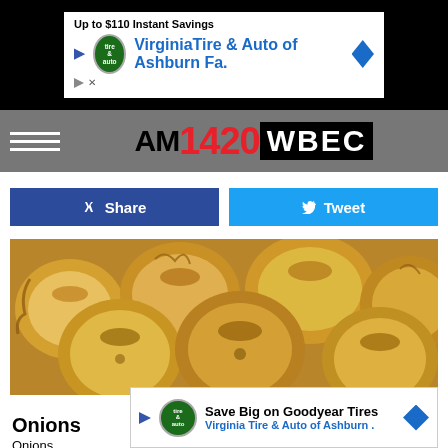[Figure (screenshot): Advertisement banner showing Virginia Tire & Auto of Ashburn with 'Up to $110 instant savings' text, logo, and navigation arrow on black background]
AM1420 WBEC
[Figure (other): Share and Tweet social media buttons]
[Figure (photo): Close-up photo of yellow/golden onions]
Unsplash
Onions
[Figure (screenshot): Advertisement overlay: Save Big on Goodyear Tires - Virginia Tire & Auto of Ashburn]
Onions ... y that can be ... tains.